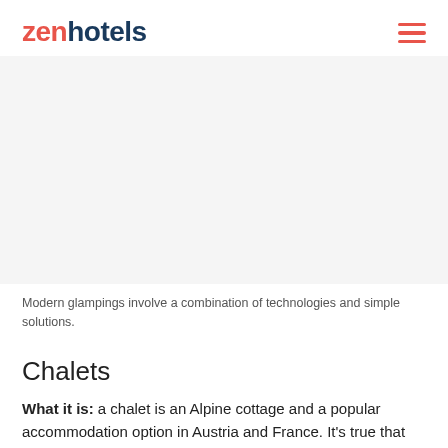zenhotels
[Figure (photo): Large image area (appears blank/white in this rendering) representing a glamping or accommodation photo]
Modern glampings involve a combination of technologies and simple solutions.
Chalets
What it is: a chalet is an Alpine cottage and a popular accommodation option in Austria and France. It's true that